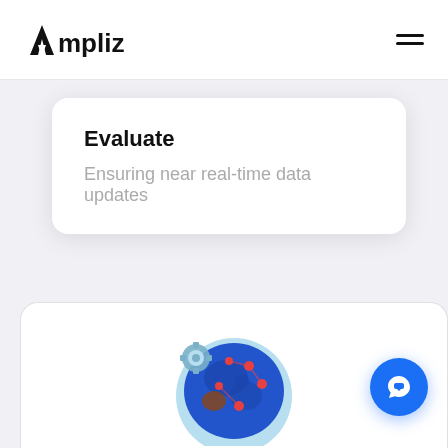[Figure (logo): Ampliz logo with a stylized letter A and the text 'Ampliz']
Evaluate
Ensuring near real-time data updates
[Figure (illustration): Globe illustration with data nodes/connections, partially visible at the bottom of the page]